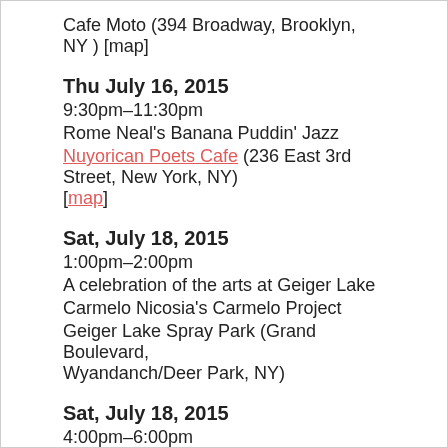Cafe Moto (394 Broadway, Brooklyn, NY ) [map]
Thu July 16, 2015
9:30pm–11:30pm
Rome Neal's Banana Puddin' Jazz
Nuyorican Poets Cafe (236 East 3rd Street, New York, NY) [map]
Sat, July 18, 2015
1:00pm–2:00pm
A celebration of the arts at Geiger Lake
Carmelo Nicosia's Carmelo Project
Geiger Lake Spray Park (Grand Boulevard, Wyandanch/Deer Park, NY)
Sat, July 18, 2015
4:00pm–6:00pm
Jeff King Band
Block Party
Lewis and Putnam Aves, Brooklyn, NY
Sun, July 25, 2015
2:00pm–3:00pm
26th Asahi Jazz Festival